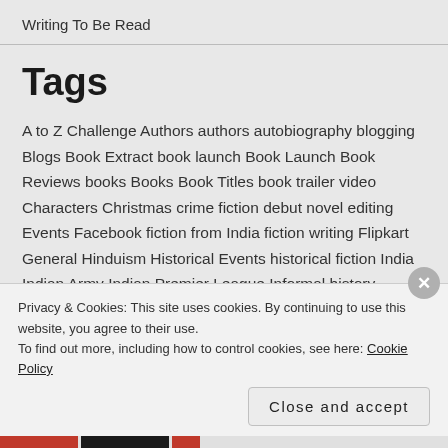Writing To Be Read
Tags
A to Z Challenge Authors authors autobiography blogging Blogs Book Extract book launch Book Launch Book Reviews books Books Book Titles book trailer video Characters Christmas crime fiction debut novel editing Events Facebook fiction from India fiction writing Flipkart General Hinduism Historical Events historical fiction India Indian Army Indian Premier League Informal history Jawaharlal Nehru John F Kennedy Lawrence School Life in...
Privacy & Cookies: This site uses cookies. By continuing to use this website, you agree to their use. To find out more, including how to control cookies, see here: Cookie Policy
Close and accept